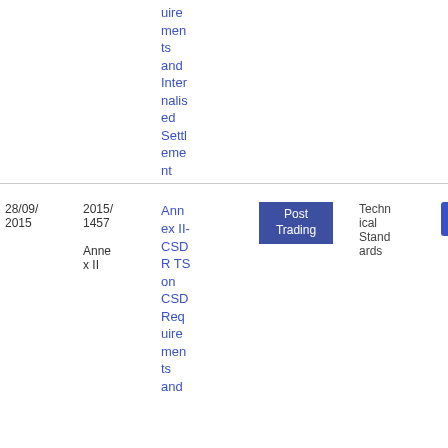| Date | Reference | Title | Topic | Type | Download |
| --- | --- | --- | --- | --- | --- |
|  |  | ...quirements and Internalised Settlement |  |  |  |
| 28/09/2015 | 2015/1457 - Annex II | Annex II- CSDR TS on CSD Requirements and... | Post Trading | Technical Standards | PDF 1.44 MB |